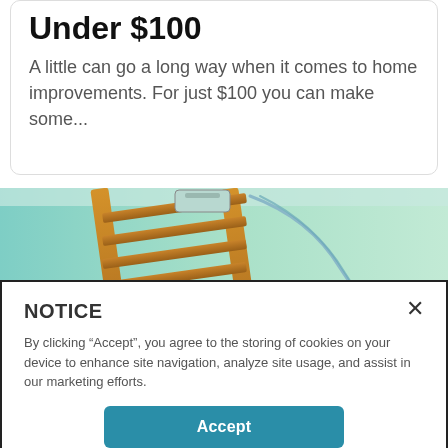Under $100
A little can go a long way when it comes to home improvements. For just $100 you can make some...
[Figure (photo): Wooden attic ladder extended against a teal/green background]
NOTICE
By clicking “Accept”, you agree to the storing of cookies on your device to enhance site navigation, analyze site usage, and assist in our marketing efforts.
Accept